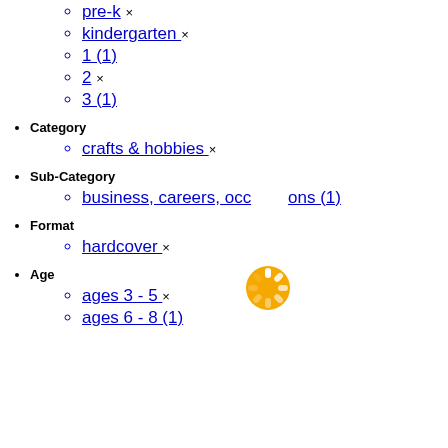pre-k ×
kindergarten ×
1 (1)
2 ×
3 (1)
Category
crafts & hobbies ×
Sub-Category
business, careers, occupations (1)
Format
hardcover ×
Age
ages 3 - 5 ×
ages 6 - 8 (1)